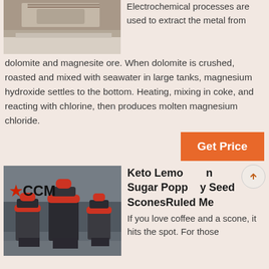[Figure (photo): Industrial mining/crushing equipment outdoors with gravel ground]
Electrochemical processes are used to extract the metal from dolomite and magnesite ore. When dolomite is crushed, roasted and mixed with seawater in large tanks, magnesium hydroxide settles to the bottom. Heating, mixing in coke, and reacting with chlorine, then produces molten magnesium chloride.
Get Price
[Figure (photo): Industrial cone crusher machines (CCM branded) in a factory setting]
Keto Lemon Sugar Poppy Seed SconesRuled Me
If you love coffee and a scone, it hits the spot. For those